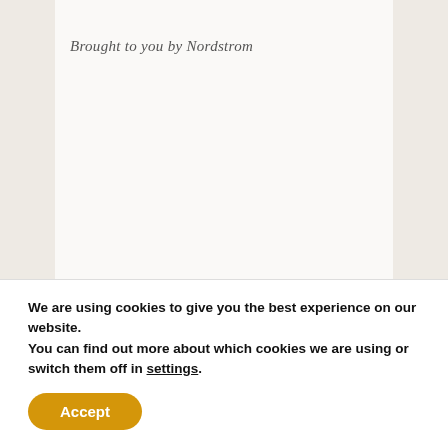Brought to you by Nordstrom
RELATED POSTS
[Figure (photo): Collage of baby/children shoes including moccasins, teal accessories, and leopard print shoes with overlay text '#FPBlackTuesday' and a 'SHOP NOW' button]
We are using cookies to give you the best experience on our website.
You can find out more about which cookies we are using or switch them off in settings.
Accept